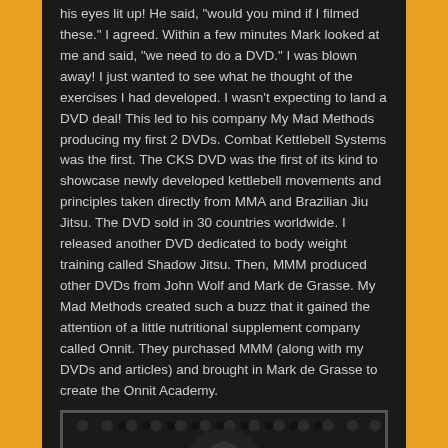his eyes lit up! He said, "would you mind if I filmed these." I agreed. Within a few minutes Mark looked at me and said, "we need to do a DVD." I was blown away! I just wanted to see what he thought of the exercises I had developed. I wasn't expecting to land a DVD deal! This led to his company My Mad Methods producing my first 2 DVDs. Combat Kettlebell Systems was the first. The CKS DVD was the first of its kind to showcase newly developed kettlebell movements and principles taken directly from MMA and Brazilian Jiu Jitsu. The DVD sold in 30 countries worldwide. I released another DVD dedicated to body weight training called Shadow Jitsu. Then, MMM produced other DVDs from John Wolf and Mark de Grasse. My Mad Methods created such a buzz that it gained the attention of a little nutritional supplement company called Onnit. They purchased MMM (along with my DVDs and articles) and brought in Mark de Grasse to create the Onnit Academy.
[Figure (photo): A photo showing what appears to be a person in athletic/martial arts gear with circular design elements in the background and text reading 'ARE']